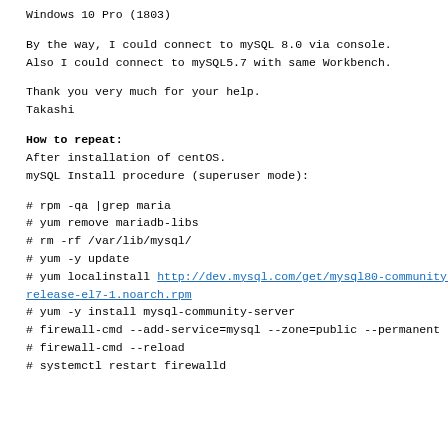Windows 10 Pro (1803)
By the way, I could connect to mySQL 8.0 via console.
Also I could connect to mySQL5.7 with same Workbench.
Thank you very much for your help.
Takashi
How to repeat:
After installation of centOS.
mySQL Install procedure (superuser mode):
# rpm -qa |grep maria
# yum remove mariadb-libs
# rm -rf /var/lib/mysql/
# yum -y update
# yum localinstall http://dev.mysql.com/get/mysql80-community-release-el7-1.noarch.rpm
# yum -y install mysql-community-server
# firewall-cmd --add-service=mysql --zone=public --permanent
# firewall-cmd --reload
# systemctl restart firewalld